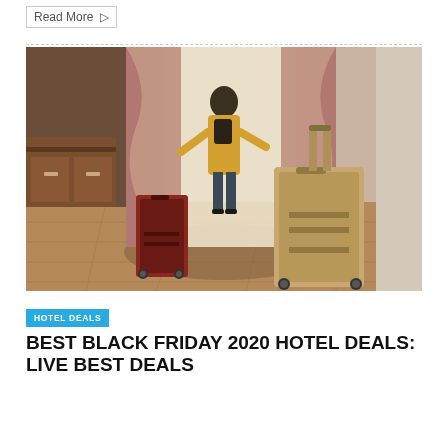Read More
[Figure (photo): Hotel room interior with two suitcases (one red, one beige/gold) on the floor, and a person with a backpack standing near a window with curtains, hardwood floor visible]
HOTEL DEALS
BEST BLACK FRIDAY 2020 HOTEL DEALS: LIVE BEST DEALS